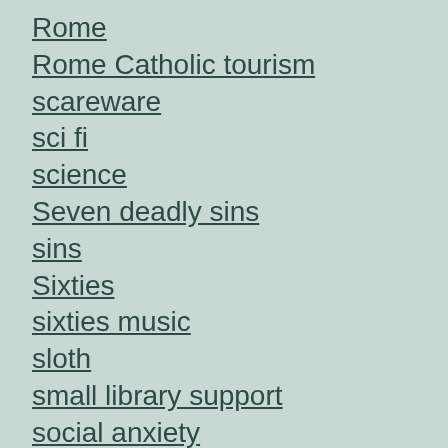Rome
Rome Catholic tourism
scareware
sci fi
science
Seven deadly sins
sins
Sixties
sixties music
sloth
small library support
social anxiety
social Media